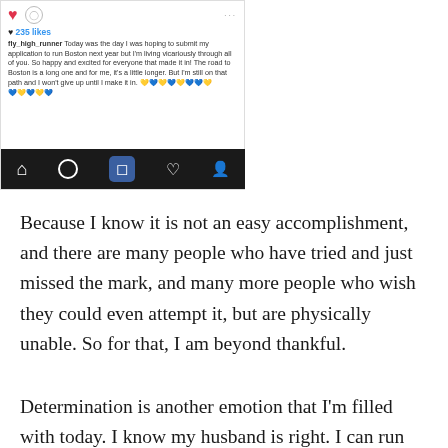[Figure (screenshot): Instagram post screenshot showing a red heart icon, comment icon, three dots, 235 likes, username fly_high_runner with caption about hoping to submit application to run Boston next year but living vicariously, with emoji hearts, and Instagram navigation bar at bottom]
Because I know it is not an easy accomplishment, and there are many people who have tried and just missed the mark, and many more people who wish they could even attempt it, but are physically unable. So for that, I am beyond thankful.
Determination is another emotion that I'm filled with today. I know my husband is right. I can run faster. I